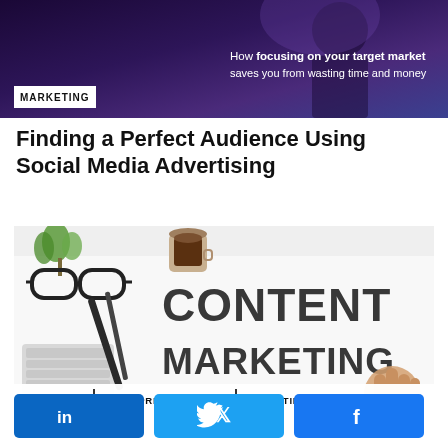[Figure (photo): Dark purple/blue background banner with silhouette of a person, text overlay reading 'How focusing on your target market saves you from wasting time and money', with MARKETING badge in white box at bottom left]
Finding a Perfect Audience Using Social Media Advertising
[Figure (photo): Content marketing flatlay image showing glasses, pens, keyboard on white surface with large text 'CONTENT MARKETING' and a hand pointing. Tags at bottom: BUSINESS, ENTREPRENEURSHIP, MARKETING, STRATEGY]
in
Twitter bird icon
Facebook f icon